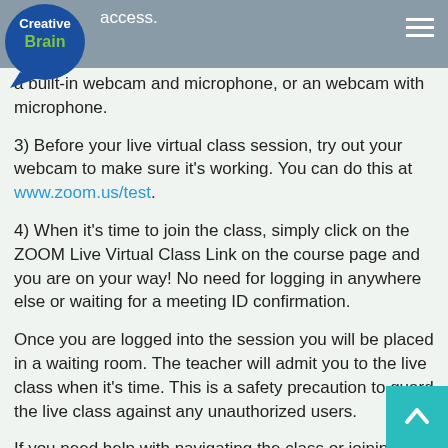Creative Brain [logo] [hamburger menu]
a built-in webcam and microphone, or an webcam with microphone.
3) Before your live virtual class session, try out your webcam to make sure it's working. You can do this at www.zoom.us/test.
4) When it's time to join the class, simply click on the ZOOM Live Virtual Class Link on the course page and you are on your way! No need for logging in anywhere else or waiting for a meeting ID confirmation.
Once you are logged into the session you will be placed in a waiting room. The teacher will admit you to the live class when it's time. This is a safety precaution to guard the live class against any unauthorized users.
If you need help with navigating the class or joining the live session, please email support@mscbl.com or for help on our live chat support on